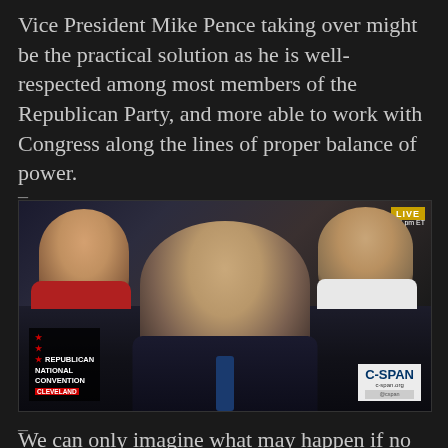Vice President Mike Pence taking over might be the practical solution as he is well-respected among most members of the Republican Party, and more able to work with Congress along the lines of proper balance of power.
[Figure (photo): C-SPAN broadcast screenshot of Mike Pence at the Republican National Convention in Cleveland, clapping. The lower-left shows the Republican National Convention Cleveland chyron and the lower-right shows the C-SPAN logo with c-span.org and @cspan. A LIVE timestamp is visible in the upper right.]
We can only imagine what may happen if no proper action is taken. Just hear the noises going on the streets